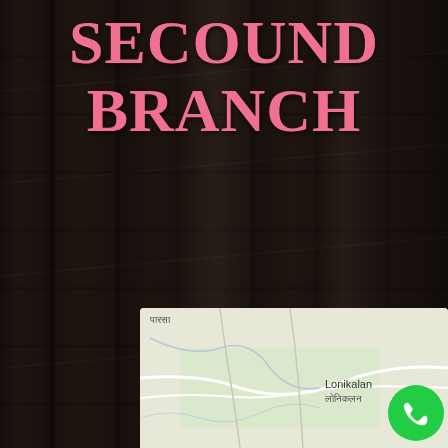SECOUND BRANCH
Rai Bakery, Bus Stop, Bhamodi, Madhya Pradesh 480449
07161 263 037
raibakery@gmail.com
[Figure (map): Google Maps snippet showing Lonikalan / लोनिकलन area with roads and a green call button overlay in bottom right]